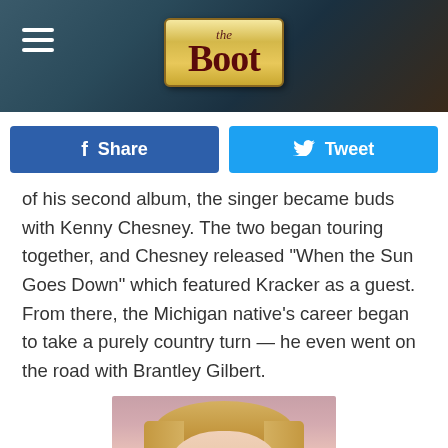the Boot
Share
Tweet
of his second album, the singer became buds with Kenny Chesney. The two began touring together, and Chesney released "When the Sun Goes Down" which featured Kracker as a guest. From there, the Michigan native's career began to take a purely country turn — he even went on the road with Brantley Gilbert.
[Figure (photo): Close-up photo of a blonde woman against a pink/mauve background, smiling slightly]